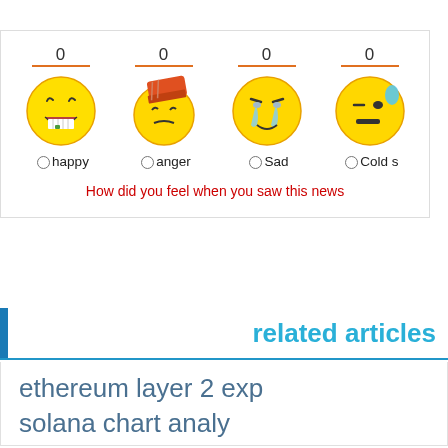[Figure (infographic): Emotion voting widget with four emoji faces (happy, anger, Sad, Cold s...) each showing a count of 0 above an orange underline, an emoji image, and a radio button label below. A red question text reads 'How did you feel when you saw this news'.]
How did you feel when you saw this news
related articles
ethereum layer 2 exp
solana chart analy